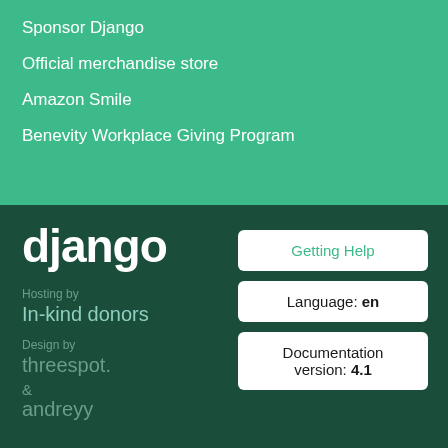Sponsor Django
Official merchandise store
Amazon Smile
Benevity Workplace Giving Program
[Figure (logo): Django logo in white text on dark green background]
Hosting by
In-kind donors
Design by
threespot.
&
andreyy
Getting Help
Language: en
Documentation version: 4.1